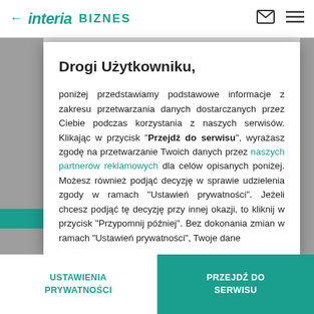← INTERIA BIZNES
Drogi Użytkowniku,
poniżej przedstawiamy podstawowe informacje z zakresu przetwarzania danych dostarczanych przez Ciebie podczas korzystania z naszych serwisów. Klikając w przycisk "Przejdź do serwisu", wyrażasz zgodę na przetwarzanie Twoich danych przez naszych partnerów reklamowych dla celów opisanych poniżej. Możesz również podjąć decyzję w sprawie udzielenia zgody w ramach "Ustawień prywatności". Jeżeli chcesz podjąć tę decyzję przy innej okazji, to kliknij w przycisk "Przypomnij później". Bez dokonania zmian w ramach "Ustawień prywatności", Twoje dane
USTAWIENIA PRYWATNOŚCI
PRZEJDŹ DO SERWISU